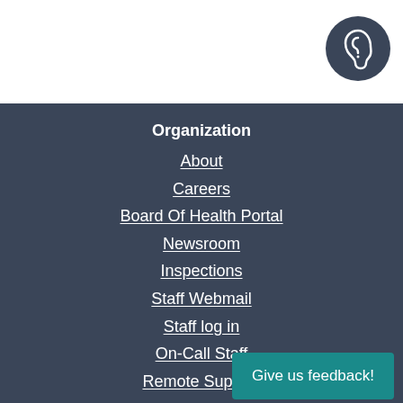[Figure (illustration): Circular dark navy blue icon with a white ear symbol, representing accessibility/hearing assistance]
Organization
About
Careers
Board Of Health Portal
Newsroom
Inspections
Staff Webmail
Staff log in
On-Call Staff
Remote Support
Resources
Forms
Give us feedback!